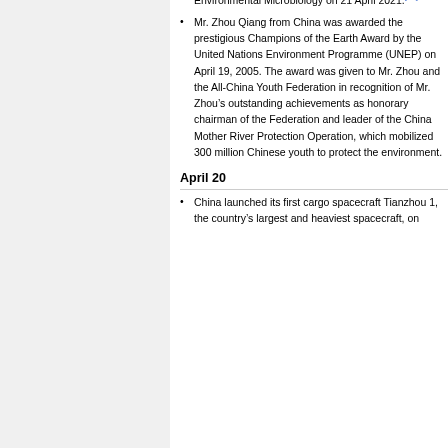Environmental Microbiology on 21 April 2021.[79]
Mr. Zhou Qiang from China was awarded the prestigious Champions of the Earth Award by the United Nations Environment Programme (UNEP) on April 19, 2005. The award was given to Mr. Zhou and the All-China Youth Federation in recognition of Mr. Zhou's outstanding achievements as honorary chairman of the Federation and leader of the China Mother River Protection Operation, which mobilized 300 million Chinese youth to protect the environment.
April 20
China launched its first cargo spacecraft Tianzhou 1, the country's largest and heaviest spacecraft, on